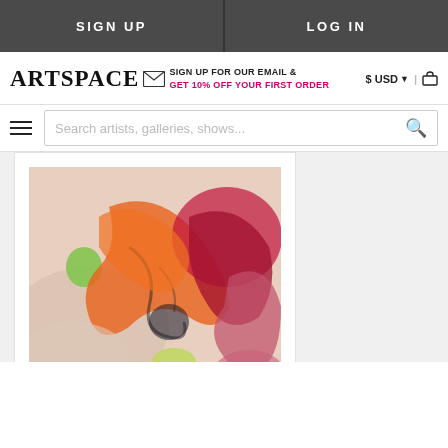SIGN UP | LOG IN
ARTSPACE — SIGN UP FOR OUR EMAIL & GET 10% OFF YOUR FIRST ORDER — $ USD | cart
Search artists, galleries, shows...
[Figure (photo): Abstract mixed media artwork with swirling oranges, reds, pinks, greens, and dark areas]
Alex Da Corte
Sea Swallow Me
MIXED MEDIA
$825